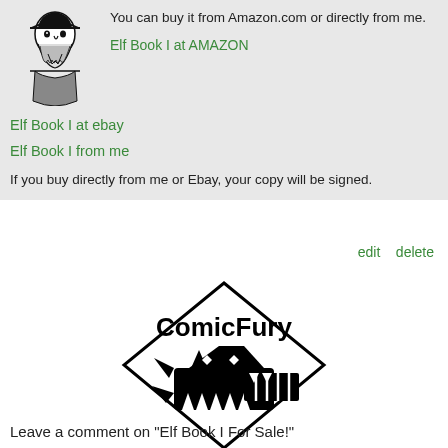[Figure (illustration): Black and white illustration of a pirate-like figure]
You can buy it from Amazon.com or directly from me.
Elf Book I at AMAZON
Elf Book I at ebay
Elf Book I from me
If you buy directly from me or Ebay, your copy will be signed.
edit   delete
[Figure (logo): ComicFury logo — diamond shape with a stylized cat creature and text 'ComicFury']
Leave a comment on "Elf Book I For Sale!"